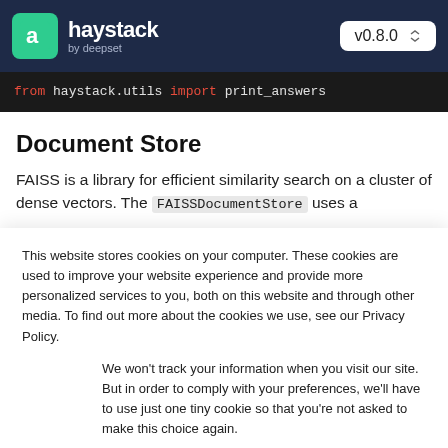haystack by deepset — v0.8.0
[Figure (screenshot): Code snippet showing: from haystack.utils import print_answers]
Document Store
FAISS is a library for efficient similarity search on a cluster of dense vectors. The FAISSDocumentStore uses a
This website stores cookies on your computer. These cookies are used to improve your website experience and provide more personalized services to you, both on this website and through other media. To find out more about the cookies we use, see our Privacy Policy.
We won't track your information when you visit our site. But in order to comply with your preferences, we'll have to use just one tiny cookie so that you're not asked to make this choice again.
Accept | Decline